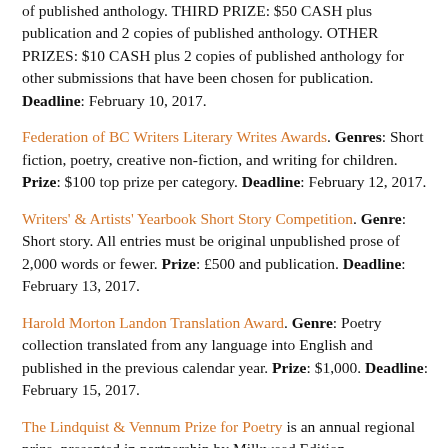of published anthology. THIRD PRIZE: $50 CASH plus publication and 2 copies of published anthology. OTHER PRIZES: $10 CASH plus 2 copies of published anthology for other submissions that have been chosen for publication. Deadline: February 10, 2017.
Federation of BC Writers Literary Writes Awards. Genres: Short fiction, poetry, creative non-fiction, and writing for children. Prize: $100 top prize per category. Deadline: February 12, 2017.
Writers' & Artists' Yearbook Short Story Competition. Genre: Short story. All entries must be original unpublished prose of 2,000 words or fewer. Prize: £500 and publication. Deadline: February 13, 2017.
Harold Morton Landon Translation Award. Genre: Poetry collection translated from any language into English and published in the previous calendar year. Prize: $1,000. Deadline: February 15, 2017.
The Lindquist & Vennum Prize for Poetry is an annual regional prize, presented in partnership by Milkweed Edition...